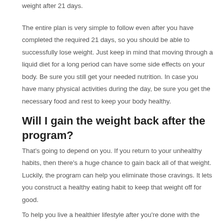weight after 21 days.
The entire plan is very simple to follow even after you have completed the required 21 days, so you should be able to successfully lose weight. Just keep in mind that moving through a liquid diet for a long period can have some side effects on your body. Be sure you still get your needed nutrition. In case you have many physical activities during the day, be sure you get the necessary food and rest to keep your body healthy.
Will I gain the weight back after the program?
That's going to depend on you. If you return to your unhealthy habits, then there's a huge chance to gain back all of that weight. Luckily, the program can help you eliminate those cravings. It lets you construct a healthy eating habit to keep that weight off for good.
To help you live a healthier lifestyle after you're done with the